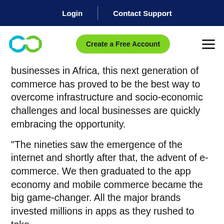Login | Contact Support
[Figure (logo): Linked infinity loop logo in cyan/green]
Create a Free Account
businesses in Africa, this next generation of commerce has proved to be the best way to overcome infrastructure and socio-economic challenges and local businesses are quickly embracing the opportunity.
“The nineties saw the emergence of the internet and shortly after that, the advent of e-commerce. We then graduated to the app economy and mobile commerce became the big game-changer. All the major brands invested millions in apps as they rushed to take